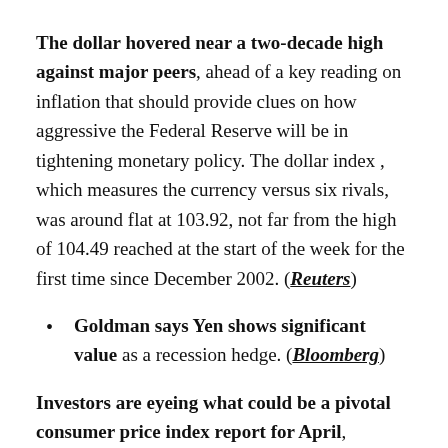The dollar hovered near a two-decade high against major peers, ahead of a key reading on inflation that should provide clues on how aggressive the Federal Reserve will be in tightening monetary policy. The dollar index , which measures the currency versus six rivals, was around flat at 103.92, not far from the high of 104.49 reached at the start of the week for the first time since December 2002. (Reuters)
Goldman says Yen shows significant value as a recession hedge. (Bloomberg)
Investors are eyeing what could be a pivotal consumer price index report for April, anticipating that the data shows inflation has already reached its height. Economists warn that prices could remain elevated. The issue is how fast inflation could decline when it